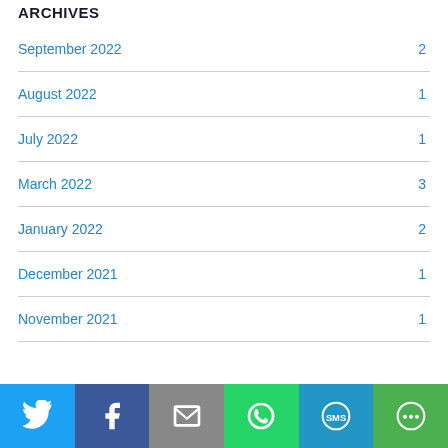ARCHIVES
September 2022  2
August 2022  1
July 2022  1
March 2022  3
January 2022  2
December 2021  1
November 2021  1
[Figure (infographic): Social sharing bar with icons for Twitter, Facebook, Email, WhatsApp, SMS, and More]